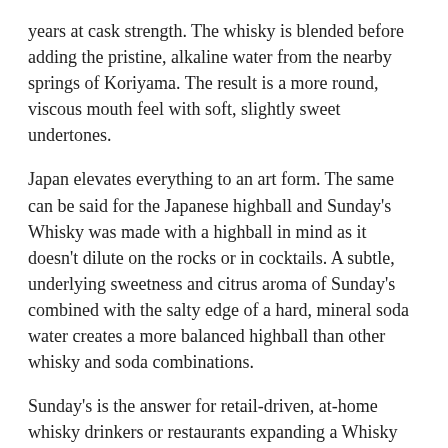years at cask strength. The whisky is blended before adding the pristine, alkaline water from the nearby springs of Koriyama. The result is a more round, viscous mouth feel with soft, slightly sweet undertones.
Japan elevates everything to an art form. The same can be said for the Japanese highball and Sunday's Whisky was made with a highball in mind as it doesn't dilute on the rocks or in cocktails. A subtle, underlying sweetness and citrus aroma of Sunday's combined with the salty edge of a hard, mineral soda water creates a more balanced highball than other whisky and soda combinations.
Sunday's is the answer for retail-driven, at-home whisky drinkers or restaurants expanding a Whisky list with a bottle that demystifies the experience of Japanese whisky - all the quality with a brand that is approachable and modern.
TASTING NOTES
On the nose aromas of yuzu, sugar snap pea and apple cider